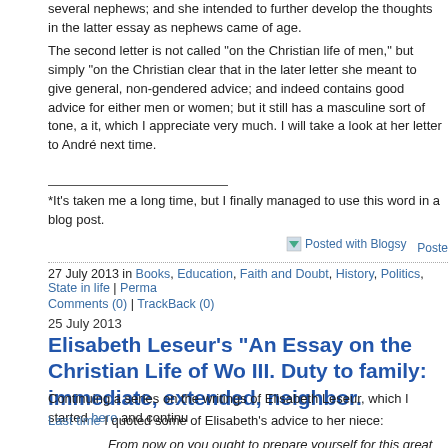several nephews; and she intended to further develop the thoughts in the latter essay as nephews came of age.
The second letter is not called "on the Christian life of men," but simply "on the Christian clear that in the later letter she meant to give general, non-gendered advice; and indeed contains good advice for either men or women; but it still has a masculine sort of tone, a it, which I appreciate very much. I will take a look at her letter to André next time.
*It's taken me a long time, but I finally managed to use this word in a blog post.
Posted with Blogsy  Posted
27 July 2013 in Books, Education, Faith and Doubt, History, Politics, State in life | Perma Comments (0) | TrackBack (0)
25 July 2013
Elisabeth Leseur's "An Essay on the Christian Life of Wo III. Duty to family: immediate, extended, neighbor.
Continuing a series on the writings of Elisabeth Leseur, which I started here and continu
Last time I quoted some of Elisabeth's advice to her niece:
From now on you ought to prepare yourself for this great task that is required of of us... All Christians have the same aim and ideal, in every age... But circumsta require them to adapt their mode of action...
As a matter of fact, our Christian duty appears under a threefold aspect--